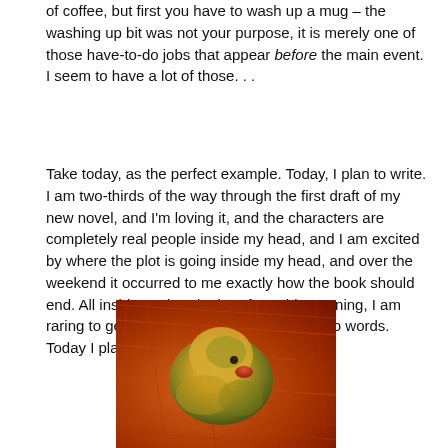of coffee, but first you have to wash up a mug – the washing up bit was not your purpose, it is merely one of those have-to-do jobs that appear before the main event. I seem to have a lot of those. . .
Take today, as the perfect example. Today, I plan to write. I am two-thirds of the way through the first draft of my new novel, and I'm loving it, and the characters are completely real people inside my head, and I am excited by where the plot is going inside my head, and over the weekend it occurred to me exactly how the book should end. All inside my head. Therefore, this morning, I am raring to get writing, and put those ideas into words. Today I plan to write. But. . .
[Figure (photo): A small yellow-green fluffy duckling or chick nestled in red-orange straw/hay, viewed from above, with a red beak visible.]